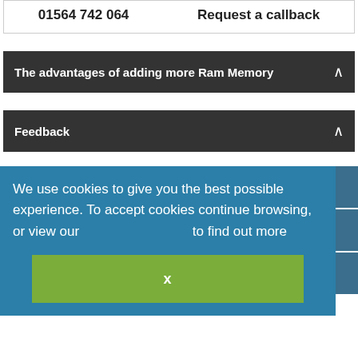01564 742 064
Request a callback
The advantages of adding more Ram Memory
Feedback
Why buy from offtek
We use cookies to give you the best possible experience. To accept cookies continue browsing, or view our [cookie policy] to find out more
Delivery Options